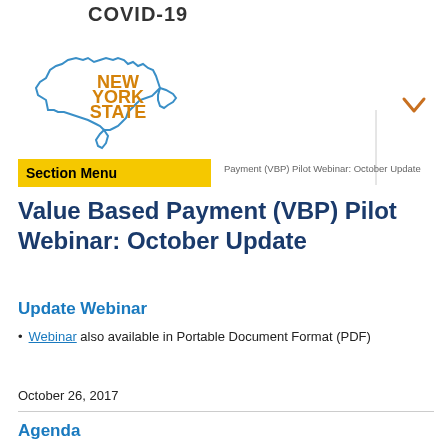COVID-19
[Figure (logo): New York State logo with outline of NY state in blue and 'NEW YORK STATE' text in gold/orange]
Section Menu
Payment (VBP) Pilot Webinar: October Update
Value Based Payment (VBP) Pilot Webinar: October Update
Update Webinar
Webinar also available in Portable Document Format (PDF)
October 26, 2017
Agenda